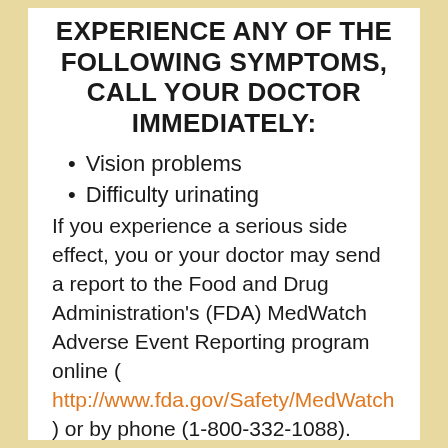EXPERIENCE ANY OF THE FOLLOWING SYMPTOMS, CALL YOUR DOCTOR IMMEDIATELY:
Vision problems
Difficulty urinating
If you experience a serious side effect, you or your doctor may send a report to the Food and Drug Administration's (FDA) MedWatch Adverse Event Reporting program online ( http://www.fda.gov/Safety/MedWatch ) or by phone (1-800-332-1088).
What should I know